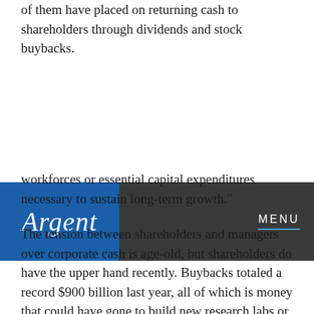of them have placed on returning cash to shareholders through dividends and stock buybacks.
[Figure (logo): Argent logo on blue background with dark navigation bar showing MENU text]
workforces or essential capital expenditures necessary to sustain long-term growth."
The tension between shareholders and managers over corporate cash is age-old, but shareholders do have the upper hand recently. Buybacks totaled a record $900 billion last year, all of which is money that could have gone to build new research labs or hire more salespeople.
William Lazonick, a University of Massachusetts economist,studied 454 large companies over 10 years and found